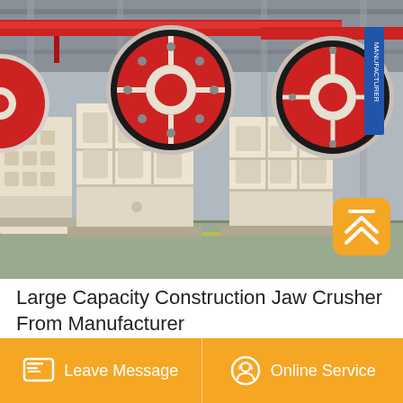[Figure (photo): Industrial factory floor showing multiple large jaw crushers lined up in a row. The machines are white/cream colored with large red and black flywheels on top. Red overhead crane beams visible. Factory has steel frame structure with high ceiling.]
Large Capacity Construction Jaw Crusher From Manufacturer
Leave Message
Online Service